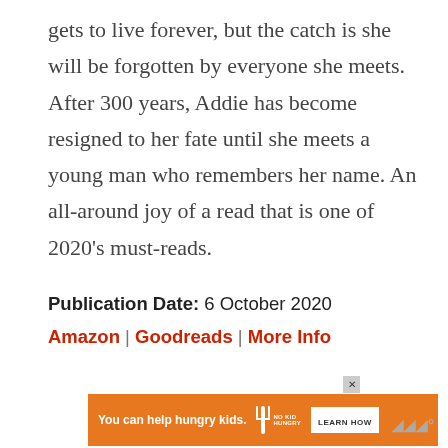gets to live forever, but the catch is she will be forgotten by everyone she meets. After 300 years, Addie has become resigned to her fate until she meets a young man who remembers her name. An all-around joy of a read that is one of 2020's must-reads.
Publication Date: 6 October 2020
Amazon | Goodreads | More Info
[Figure (infographic): Orange advertisement banner: 'You can help hungry kids.' with No Kid Hungry logo, Learn How button, and watermark symbol]